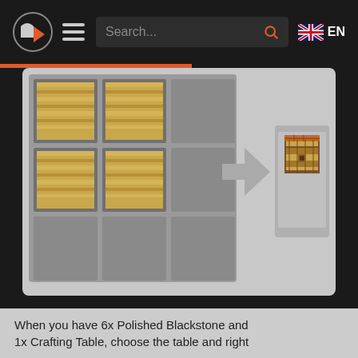Search... EN
[Figure (screenshot): Minecraft crafting table recipe showing 4 oak planks in a 2x2 pattern in the crafting grid, with an arrow pointing to a crafting table result item on the right]
#3 FINISH OFF CRAFTING A POLISHED BLACKSTONE WALL
When you have 6x Polished Blackstone and 1x Crafting Table, choose the table and right